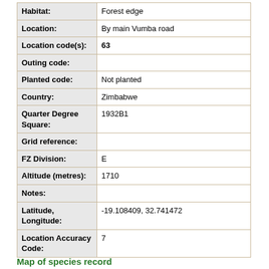| Field | Value |
| --- | --- |
| Habitat: | Forest edge |
| Location: | By main Vumba road |
| Location code(s): | 63 |
| Outing code: |  |
| Planted code: | Not planted |
| Country: | Zimbabwe |
| Quarter Degree Square: | 1932B1 |
| Grid reference: |  |
| FZ Division: | E |
| Altitude (metres): | 1710 |
| Notes: |  |
| Latitude, Longitude: | -19.108409, 32.741472 |
| Location Accuracy Code: | 7 |
Map of species record